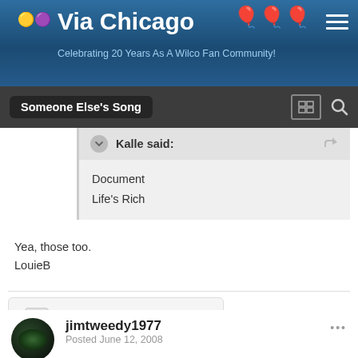Via Chicago — Celebrating 20 Years As A Wilco Fan Community!
Someone Else's Song
Kalle said:
Document
Life's Rich
Yea, those too.

LouieB
+ Quote
jimtweedy1977
Posted June 12, 2008